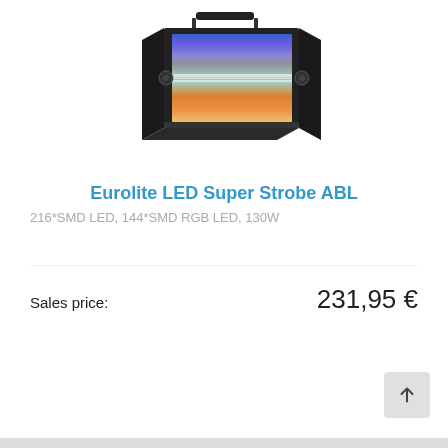[Figure (photo): Eurolite LED Super Strobe ABL lighting fixture with colorful RGB LED panel display, black housing, shown at a slight angle]
Eurolite LED Super Strobe ABL
216*SMD LED, 144*SMD RGB LED, 130W
Sales price: 231,95 €